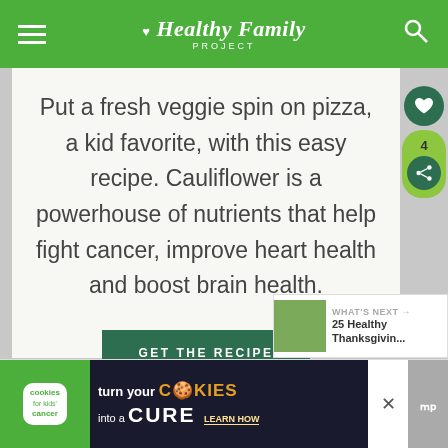Healthy Family PROJECT
Put a fresh veggie spin on pizza, a kid favorite, with this easy recipe. Cauliflower is a powerhouse of nutrients that help fight cancer, improve heart health and boost brain health.
GET THE RECIPE
[Figure (screenshot): What's Next thumbnail showing 25 Healthy Thanksgivin...]
[Figure (infographic): Advertisement banner: cookies for kids cancer - turn your COOKIES into a CURE LEARN HOW]